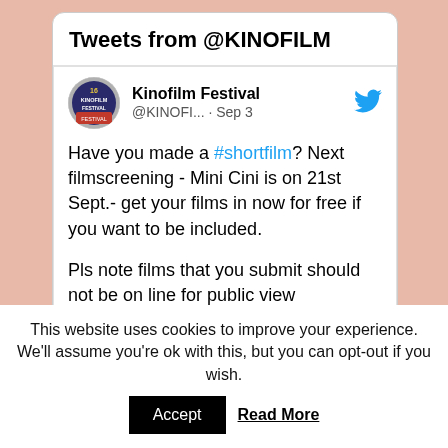Tweets from @KINOFILM
[Figure (screenshot): Kinofilm Festival Twitter profile avatar - circular logo with text '16 KINOFILM FESTIVAL']
Kinofilm Festival @KINOFI... · Sep 3
Have you made a #shortfilm? Next filmscreening - Mini Cini is on 21st Sept.- get your films in now for free if you want to be included.
Pls note films that you submit should not be on line for public view
Send for free to programmingdept@kinofilm.org.uk
This website uses cookies to improve your experience. We'll assume you're ok with this, but you can opt-out if you wish.
Accept   Read More